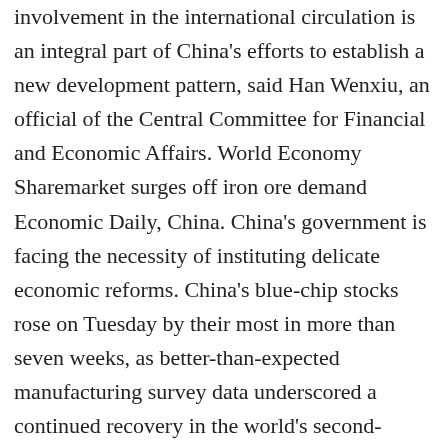involvement in the international circulation is an integral part of China's efforts to establish a new development pattern, said Han Wenxiu, an official of the Central Committee for Financial and Economic Affairs. World Economy Sharemarket surges off iron ore demand Economic Daily, China. China's government is facing the necessity of instituting delicate economic reforms. China's blue-chip stocks rose on Tuesday by their most in more than seven weeks, as better-than-expected manufacturing survey data underscored a continued recovery in the world's second-largest economy. The daily China EPU index is updated on this website at 12:00 PM HKT (4:00AM GMT) each day. PakChina Express is the Urdu program produced by China Economic Net and broadcast on PTV News weekly. China's export-driven economy was for decades the workshop of the world. … [8], In July 1978, some former employees of Ta Kung Pao founded the Financial and Trade Front Post (囧囧囧囧囧), [9] which was renamed China Financial and Trade Post (囧囧囧囧囧) in